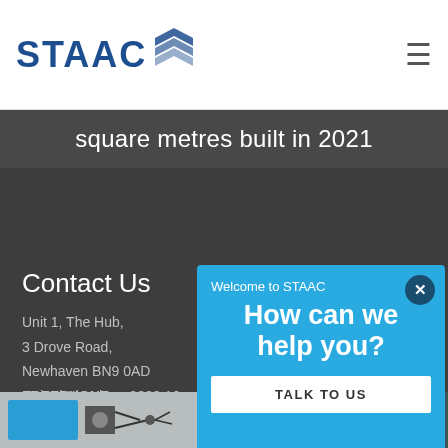STAAC
square metres built in 2021
Contact Us
Unit 1, The Hub,
3 Drove Road,
Newhaven BN9 0AD
United Kingdom
FREEPHONE:   0808 16...
enquiries@staac.co.uk
[Figure (screenshot): Blue popup chat widget with 'Welcome to STAAC', 'How can we help you?' heading and 'TALK TO US' button]
[Figure (photo): Two thumbnail images at the bottom showing STAAC products/services]